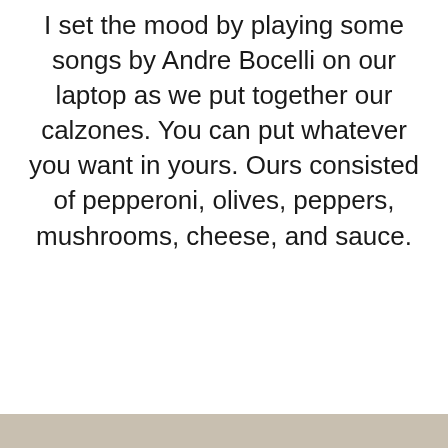I set the mood by playing some songs by Andre Bocelli on our laptop as we put together our calzones. You can put whatever you want in yours. Ours consisted of pepperoni, olives, peppers, mushrooms, cheese, and sauce.
[Figure (photo): Close button (X) in bottom-right corner, partially cropped photo at bottom]